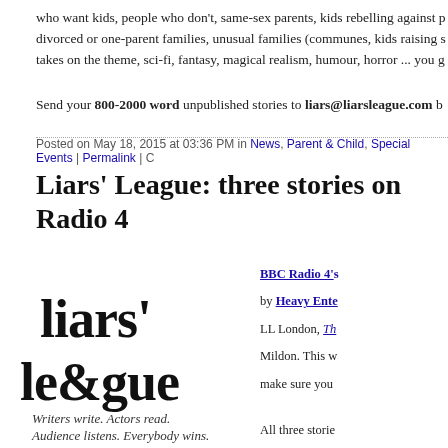who want kids, people who don't, same-sex parents, kids rebelling against parents, divorced or one-parent families, unusual families (communes, kids raising s...) takes on the theme, sci-fi, fantasy, magical realism, humour, horror ... you g...
Send your 800-2000 word unpublished stories to liars@liarsleague.com b...
Posted on May 18, 2015 at 03:36 PM in News, Parent & Child, Special Events | Permalink | C...
Liars' League: three stories on Radio 4...
[Figure (logo): Liars' League logo — stylized text reading 'liars' le&gue' with tagline 'Writers write. Actors read. Audience listens. Everybody wins.']
BBC Radio 4's... by Heavy Ente... LL London, Th... Mildon. This w... make sure you... All three storie... without except... radio this Sun... links are below... world, there's n...